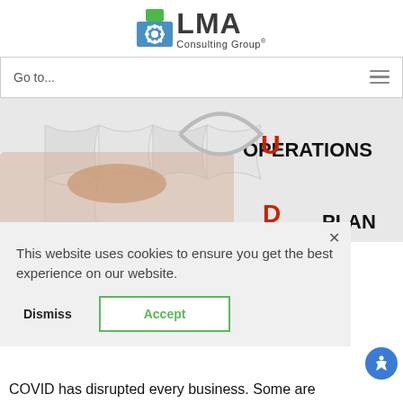[Figure (logo): LMA Consulting Group logo with puzzle piece icon in blue and green]
Go to...
[Figure (photo): Puzzle pieces image with text OPERATIONS and PLAN visible on puzzle pieces, with a hand placing a piece]
This website uses cookies to ensure you get the best experience on our website.
Dismiss
Accept
COVID has disrupted every business. Some are